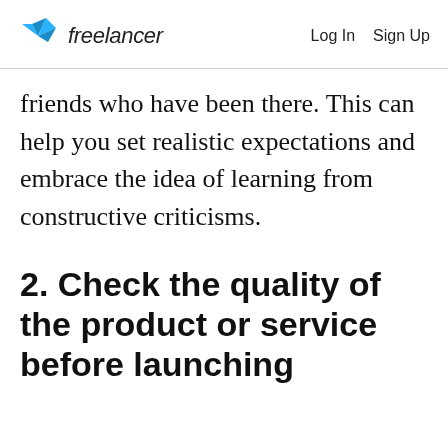freelancer  Log In  Sign Up
friends who have been there. This can help you set realistic expectations and embrace the idea of learning from constructive criticisms.
2. Check the quality of the product or service before launching